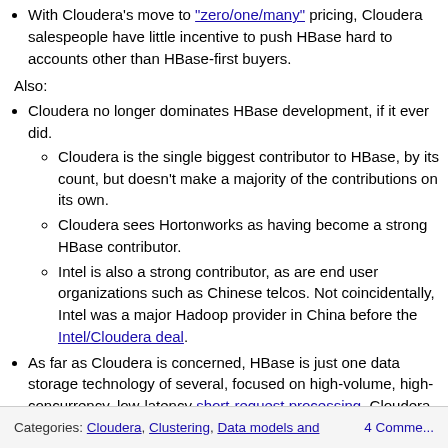With Cloudera's move to "zero/one/many" pricing, Cloudera salespeople have little incentive to push HBase hard to accounts other than HBase-first buyers.
Also:
Cloudera no longer dominates HBase development, if it ever did.
Cloudera is the single biggest contributor to HBase, by its count, but doesn't make a majority of the contributions on its own.
Cloudera sees Hortonworks as having become a strong HBase contributor.
Intel is also a strong contributor, as are end user organizations such as Chinese telcos. Not coincidentally, Intel was a major Hadoop provider in China before the Intel/Cloudera deal.
As far as Cloudera is concerned, HBase is just one data storage technology of several, focused on high-volume, high-concurrency, low-latency short-request processing. Cloudera thinks this is OK because of HBase's strong integration with the rest of the Hadoop stack.
Others who may be inclined to disagree are in several cases doing projects on top of HBase to extend its reach. (In particular, please see the discussion below about Apache Phoenix and Trafodion, both of which want to offer relational-like functionality.)
Read more
Categories: Cloudera, Clustering, Data models and ... 4 Comme...